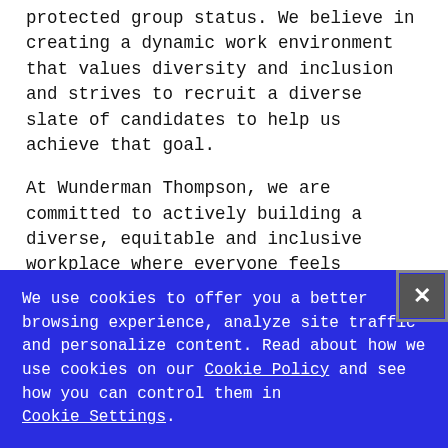protected group status. We believe in creating a dynamic work environment that values diversity and inclusion and strives to recruit a diverse slate of candidates to help us achieve that goal.
At Wunderman Thompson, we are committed to actively building a diverse, equitable and inclusive workplace where everyone feels welcomed, valued and heard, and is treated with
We use cookies to offer you a better browsing experience, analyze site traffic and personalize content. Read about how we use cookies on our Cookie Policy and see how you can control them in Cookie Settings.